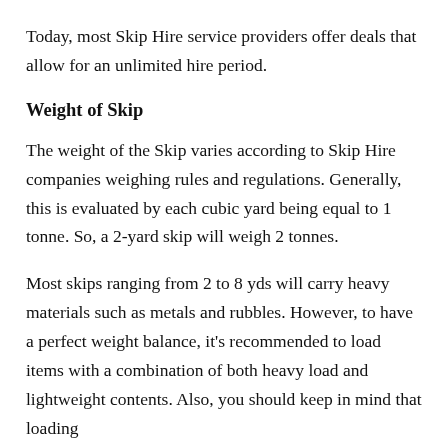Today, most Skip Hire service providers offer deals that allow for an unlimited hire period.
Weight of Skip
The weight of the Skip varies according to Skip Hire companies weighing rules and regulations. Generally, this is evaluated by each cubic yard being equal to 1 tonne. So, a 2-yard skip will weigh 2 tonnes.
Most skips ranging from 2 to 8 yds will carry heavy materials such as metals and rubbles. However, to have a perfect weight balance, it's recommended to load items with a combination of both heavy load and lightweight contents. Also, you should keep in mind that loading